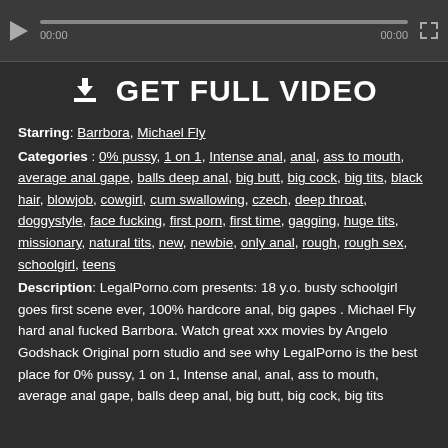[Figure (screenshot): Video player with play button, progress bar, time display 00:00 / 00:00, and fullscreen icon]
GET FULL VIDEO
Starring: Barrbora, Michael Fly
Categories : 0% pussy, 1 on 1, Intense anal, anal, ass to mouth, average anal gape, balls deep anal, big butt, big cock, big tits, black hair, blowjob, cowgirl, cum swallowing, czech, deep throat, doggystyle, face fucking, first porn, first time, gagging, huge tits, missionary, natural tits, new, newbie, only anal, rough, rough sex, schoolgirl, teens
Description: LegalPorno.com presents: 18 y.o. busty schoolgirl goes first scene ever, 100% hardcore anal, big gapes . Michael Fly hard anal fucked Barrbora. Watch great xxx movies by Angelo Godshack Original porn studio and see why LegalPorno is the best place for 0% pussy, 1 on 1, Intense anal, anal, ass to mouth, average anal gape, balls deep anal, big butt, big cock, big tits